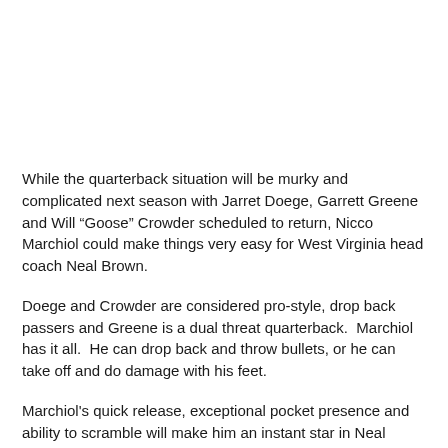While the quarterback situation will be murky and complicated next season with Jarret Doege, Garrett Greene and Will “Goose” Crowder scheduled to return, Nicco Marchiol could make things very easy for West Virginia head coach Neal Brown.
Doege and Crowder are considered pro-style, drop back passers and Greene is a dual threat quarterback.  Marchiol has it all.  He can drop back and throw bullets, or he can take off and do damage with his feet.
Marchiol's quick release, exceptional pocket presence and ability to scramble will make him an instant star in Neal Brown's offense from day one.  His heart, grit, determination